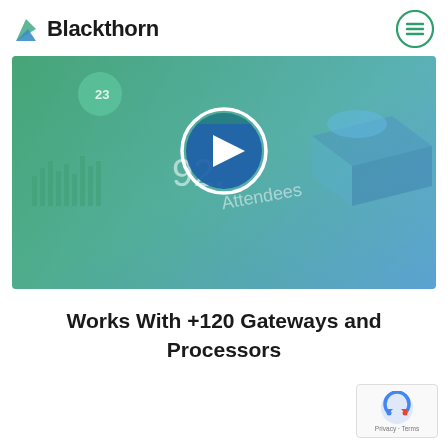[Figure (logo): Blackthorn logo with green/blue arrow icon and bold text 'Blackthorn']
[Figure (screenshot): Video thumbnail with gradient green-to-blue background showing analytics dashboard UI elements, with a white-bordered circular play button in the center]
Works With +120 Gateways and Processors
[Figure (other): reCAPTCHA badge with Privacy and Terms links]